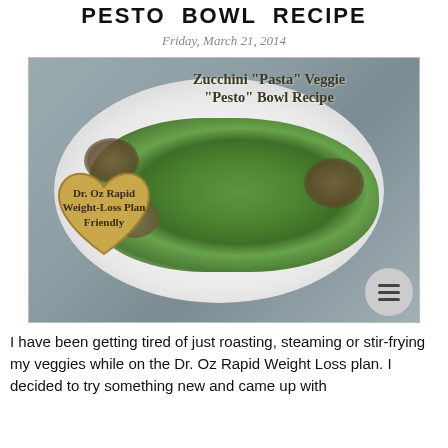PESTO BOWL RECIPE
Friday, March 21, 2014
[Figure (photo): A white bowl filled with zucchini pasta, broccoli, mushrooms, and pine nuts – labeled as a Zucchini 'Pasta' Veggie 'Pesto' Bowl Recipe. A golden heart badge reads: Dr. Oz Rapid Weight-Loss Plan Friendly.]
I have been getting tired of just roasting, steaming or stir-frying my veggies while on the Dr. Oz Rapid Weight Loss plan. I decided to try something new and came up with